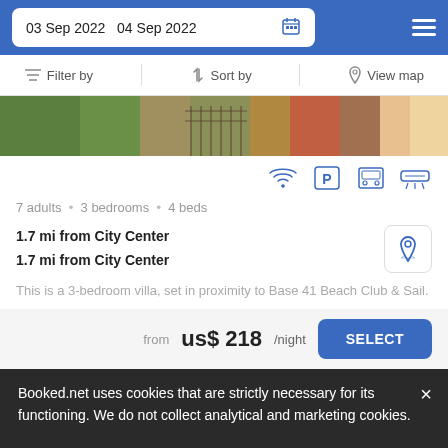03 Sep 2022  04 Sep 2022
Filter by  Sort by  View map
[Figure (photo): Outdoor garden scene with trees and iron fence]
7 adults • 3 bedrooms • 4 beds
1.7 mi from City Center
1.7 mi from City Center
This is a 3-bedroom villa, set in proximity to Base 41 Beach Club & Sail.
from us$ 218/night
SELECT
Booked.net uses cookies that are strictly necessary for its functioning. We do not collect analytical and marketing cookies.
Apartment